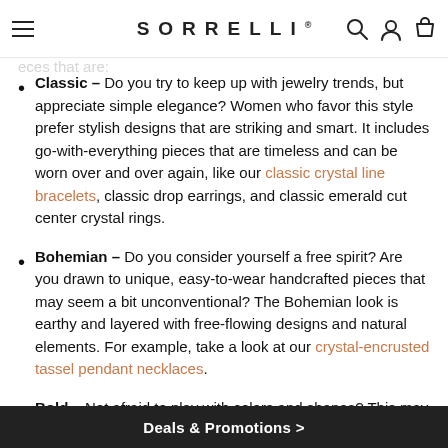SORRELLI
Classic – Do you try to keep up with jewelry trends, but appreciate simple elegance? Women who favor this style prefer stylish designs that are striking and smart. It includes go-with-everything pieces that are timeless and can be worn over and over again, like our classic crystal line bracelets, classic drop earrings, and classic emerald cut center crystal rings.
Bohemian – Do you consider yourself a free spirit? Are you drawn to unique, easy-to-wear handcrafted pieces that may seem a bit unconventional? The Bohemian look is earthy and layered with free-flowing designs and natural elements. For example, take a look at our crystal-encrusted tassel pendant necklaces.
Bold – Not afraid to play with colors and shapes? This may be your style. If you love jewelry that makes a
Deals & Promotions >